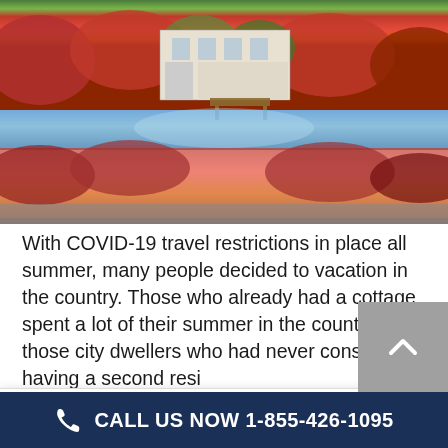[Figure (photo): Aerial/lakeside view of a cottage or house surrounded by autumn foliage in red, orange, and green, with water reflection visible.]
With COVID-19 travel restrictions in place all summer, many people decided to vacation in the country. Those who already had a cottage spent a lot of their summer in the country and those city dwellers who had never considered having a second residence... state sales in
[Figure (logo): Satisfaction Guaranteed badge with 'MOSE' text and a house/mountain icon in the center, green and dark blue circular seal design.]
We use cookies to analyse our traffic and create a better user experience for you. Using the site means you agree to our use of cookies. More information can be found here.
Cookie settings
ACCEPT
CALL US NOW 1-855-426-1095